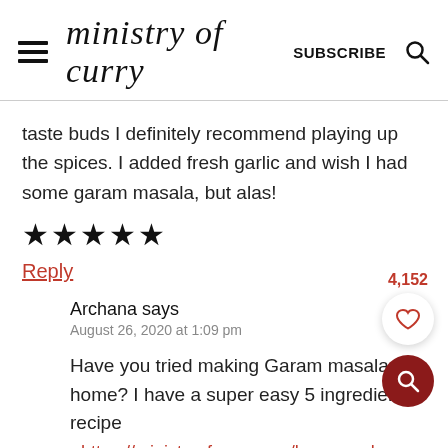ministry of curry  SUBSCRIBE
taste buds I definitely recommend playing up the spices. I added fresh garlic and wish I had some garam masala, but alas!
★★★★★
Reply
Archana says
August 26, 2020 at 1:09 pm
Have you tried making Garam masala at home? I have a super easy 5 ingredient recipe - https://ministryofcurry.com/homemade-